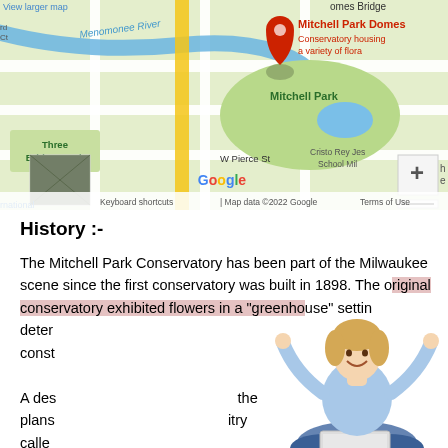[Figure (map): Google Maps screenshot showing Mitchell Park Domes location in Milwaukee. Shows Menomonee River, Three Bridges Park, Mitchell Park, W Pierce St. Red location pin marks Mitchell Park Domes with label 'Conservatory housing a variety of flora'. Google branding and map controls visible.]
History :-
The Mitchell Park Conservatory has been part of the Milwaukee scene since the first conservatory was built in 1898. The original conservatory exhibited flowers in a "greenhouse" setting determined conservatory
A des the plans itry called of
[Figure (photo): Photo of a smiling woman with short blonde hair sitting cross-legged with arms raised in celebration, using a laptop computer. Partially overlaps the body text.]